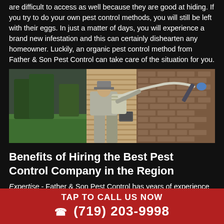are difficult to access as well because they are good at hiding. If you try to do your own pest control methods, you will still be left with their eggs. In just a matter of days, you will experience a brand new infestation and this can certainly dishearten any homeowner. Luckily, an organic pest control method from Father & Son Pest Control can take care of the situation for you.
[Figure (photo): Pest control technician in gray uniform applying treatment along the exterior brick wall of a building using a hose and applicator, with green lawn in background]
Benefits of Hiring the Best Pest Control Company in the Region
Expertise - Father & Son Pest Control has years of experience working and handling all types of pests. All of their exterminators have a background in treating all kinds of pests, which means there is not a single pest that they have not seen and eliminated.
Training - Father & Son Pest Control is committed to providing the best services which is why you will be assisted by professionals
TAP TO CALL US NOW
(719) 203-9998